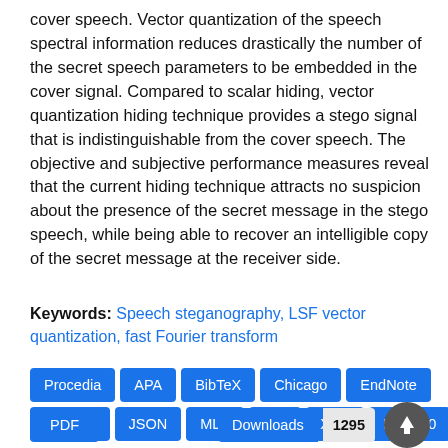cover speech. Vector quantization of the speech spectral information reduces drastically the number of the secret speech parameters to be embedded in the cover signal. Compared to scalar hiding, vector quantization hiding technique provides a stego signal that is indistinguishable from the cover speech. The objective and subjective performance measures reveal that the current hiding technique attracts no suspicion about the presence of the secret message in the stego speech, while being able to recover an intelligible copy of the secret message at the receiver side.
Keywords: Speech steganography, LSF vector quantization, fast Fourier transform
[Figure (other): Citation format buttons: Procedia, APA, BibTeX, Chicago, EndNote (row 1); Harvard, JSON, MLA, RIS, XML, ISO 690 (row 2); PDF (row 3); Downloads 1295 badge with scroll-to-top button]